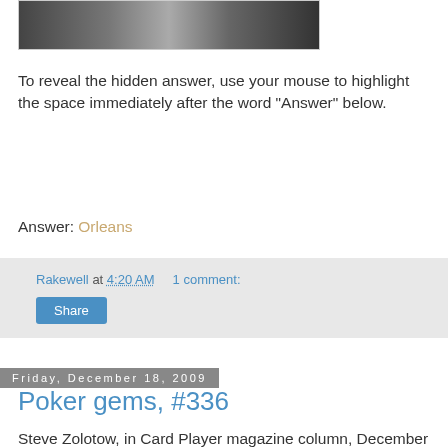[Figure (photo): A photo showing people at what appears to be a casino or gaming event]
To reveal the hidden answer, use your mouse to highlight the space immediately after the word "Answer" below.
Answer: Orleans
Rakewell at 4:20 AM   1 comment:
Share
Friday, December 18, 2009
Poker gems, #336
Steve Zolotow, in Card Player magazine column, December